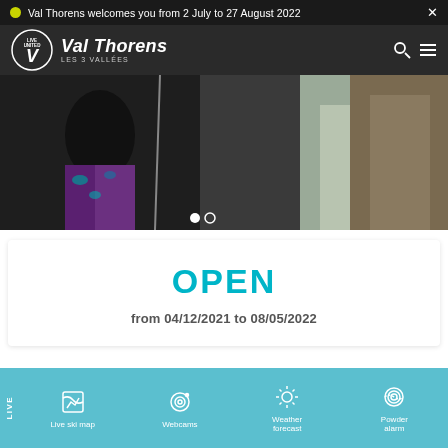Val Thorens welcomes you from 2 July to 27 August 2022
[Figure (logo): Val Thorens Les 3 Vallées logo with Live United badge]
[Figure (photo): Hero image of person in colorful leggings at ski resort]
OPEN
from 04/12/2021 to 08/05/2022
Live ski map
Webcams
Weather forecast
Powder alarm